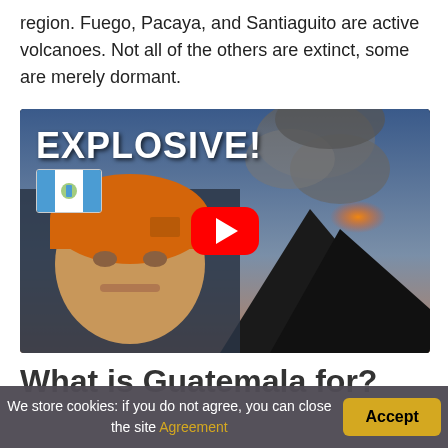region. Fuego, Pacaya, and Santiaguito are active volcanoes. Not all of the others are extinct, some are merely dormant.
[Figure (screenshot): YouTube video thumbnail showing a man wearing an orange helmet in front of an erupting volcano. Text overlay reads 'EXPLOSIVE!' and a Guatemala flag badge is visible. A red YouTube play button is centered on the image.]
What is Guatemala for?
We store cookies: if you do not agree, you can close the site Agreement